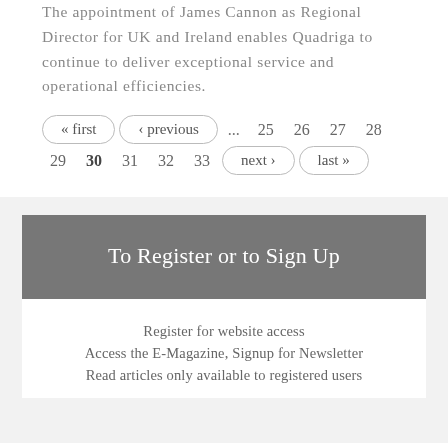The appointment of James Cannon as Regional Director for UK and Ireland enables Quadriga to continue to deliver exceptional service and operational efficiencies.
« first  ‹ previous  ...  25  26  27  28  29  30  31  32  33  next ›  last »
To Register or to Sign Up
Register for website access
Access the E-Magazine, Signup for Newsletter
Read articles only available to registered users